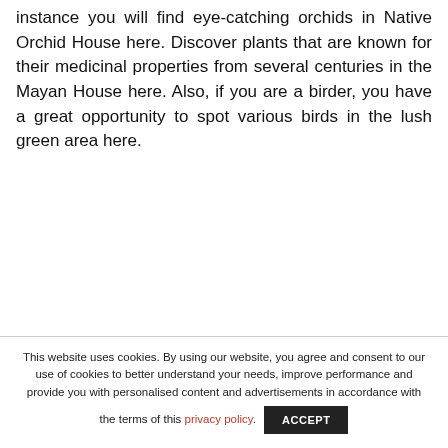instance you will find eye-catching orchids in Native Orchid House here. Discover plants that are known for their medicinal properties from several centuries in the Mayan House here. Also, if you are a birder, you have a great opportunity to spot various birds in the lush green area here.
This website uses cookies. By using our website, you agree and consent to our use of cookies to better understand your needs, improve performance and provide you with personalised content and advertisements in accordance with the terms of this privacy policy.